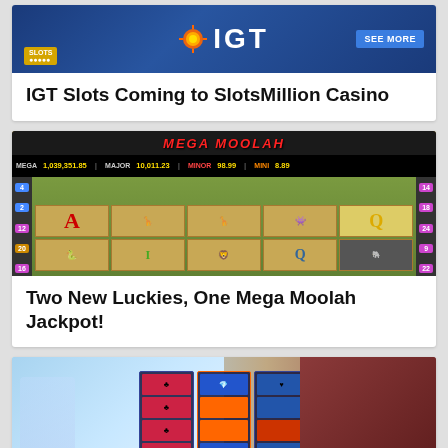[Figure (screenshot): IGT Slots Coming to SlotsMillion Casino banner with IGT logo and SEE MORE button]
IGT Slots Coming to SlotsMillion Casino
[Figure (screenshot): Mega Moolah slot game screenshot showing jackpot values: MEGA 1,039,351.85, MAJOR 10,011.23, MINOR 98.99, MINI 8.89 with animal symbol reels]
Two New Luckies, One Mega Moolah Jackpot!
[Figure (screenshot): Archangels Salvation slot game showing angel and demon characters with gem symbols on reels]